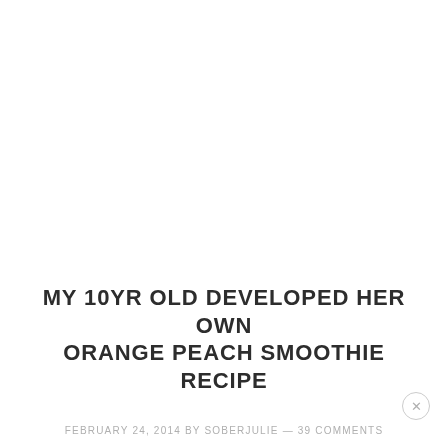MY 10YR OLD DEVELOPED HER OWN ORANGE PEACH SMOOTHIE RECIPE
FEBRUARY 24, 2014 BY SOBERJULIE — 39 COMMENTS